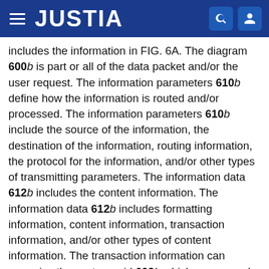JUSTIA
includes the information in FIG. 6A. The diagram 600b is part or all of the data packet and/or the user request. The information parameters 610b define how the information is routed and/or processed. The information parameters 610b include the source of the information, the destination of the information, routing information, the protocol for the information, and/or other types of transmitting parameters. The information data 612b includes the content information. The information data 612b includes formatting information, content information, transaction information, and/or other types of content information. The transaction information can comprise the customer id 602b which corresponds with the customer id field of the login screen 602a. The transaction information can comprise the pin 604b which corresponds with the pin field of the login screen 604a. The transaction information can